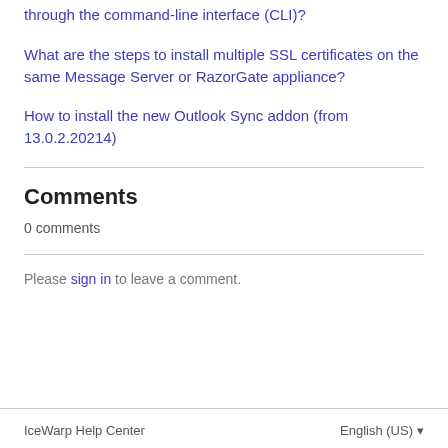through the command-line interface (CLI)?
What are the steps to install multiple SSL certificates on the same Message Server or RazorGate appliance?
How to install the new Outlook Sync addon (from 13.0.2.20214)
Comments
0 comments
Please sign in to leave a comment.
IceWarp Help Center    English (US)